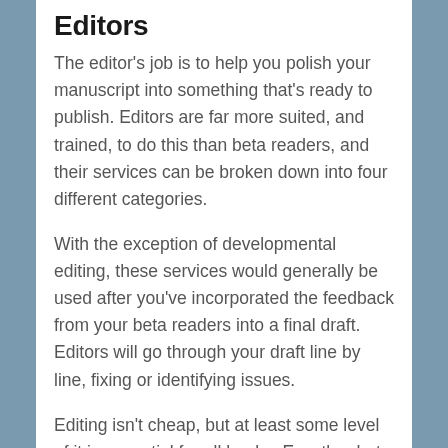Editors
The editor's job is to help you polish your manuscript into something that's ready to publish. Editors are far more suited, and trained, to do this than beta readers, and their services can be broken down into four different categories.
With the exception of developmental editing, these services would generally be used after you've incorporated the feedback from your beta readers into a final draft. Editors will go through your draft line by line, fixing or identifying issues.
Editing isn't cheap, but at least some level of it is essential for all books. Exactly what level of service is needed is really project and author dependent, but here is a quick description of each type of editing service.